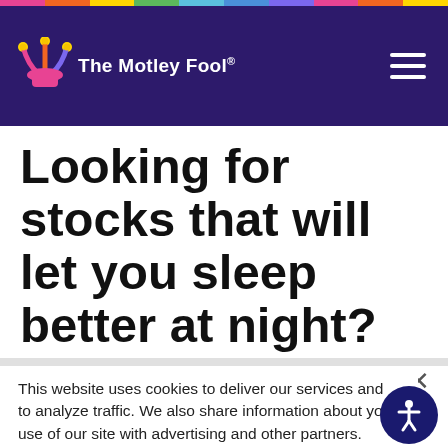The Motley Fool
Looking for stocks that will let you sleep better at night? Here are two that may fit the bill.
This website uses cookies to deliver our services and to analyze traffic. We also share information about your use of our site with advertising and other partners. Privacy Policy
Got it
Cookie Settings